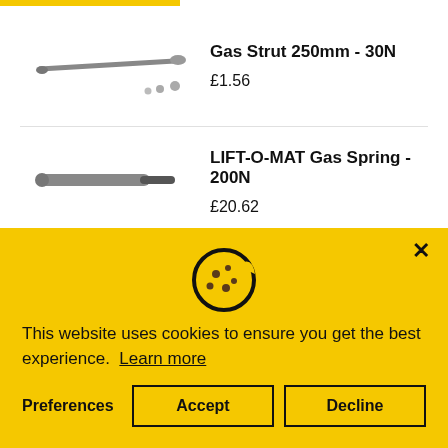[Figure (photo): Gas Strut 250mm - 30N product image]
Gas Strut 250mm - 30N
£1.56
[Figure (photo): LIFT-O-MAT Gas Spring - 200N product image]
LIFT-O-MAT Gas Spring - 200N
£20.62
[Figure (other): Cookie consent icon]
This website uses cookies to ensure you get the best experience.  Learn more
Preferences
Accept
Decline
[Figure (photo): 110° Soft-Close Hinge, H0 Mounting Plate product image]
110° Soft-Close Hinge, H0 Mounting Plate